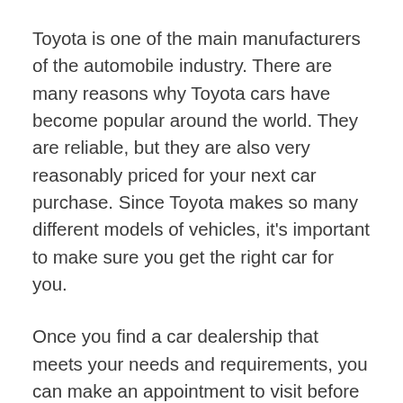Toyota is one of the main manufacturers of the automobile industry. There are many reasons why Toyota cars have become popular around the world. They are reliable, but they are also very reasonably priced for your next car purchase. Since Toyota makes so many different models of vehicles, it's important to make sure you get the right car for you.
Once you find a car dealership that meets your needs and requirements, you can make an appointment to visit before buying a car. There is a sales representative available in Australia to assist you during the purchase process of a new car through your car sales company.